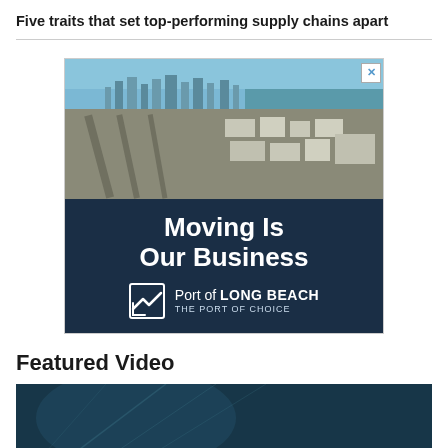Five traits that set top-performing supply chains apart
[Figure (photo): Advertisement for Port of Long Beach featuring an aerial photograph of the port/city skyline on top, and a dark navy blue lower section with large white text reading 'Moving Is Our Business', along with the Port of Long Beach logo and tagline 'THE PORT OF CHOICE']
Featured Video
[Figure (photo): Thumbnail image for a featured video, showing a dark teal/blue abstract or architectural background]